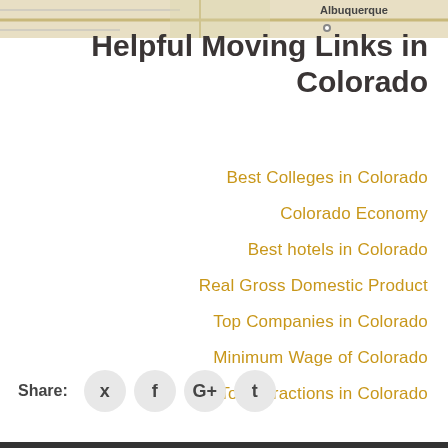[Figure (map): Partial map image showing Albuquerque area with map label and location pin]
Helpful Moving Links in Colorado
Best Colleges in Colorado
Colorado Economy
Best hotels in Colorado
Real Gross Domestic Product
Top Companies in Colorado
Minimum Wage of Colorado
Top Attractions in Colorado
Share: